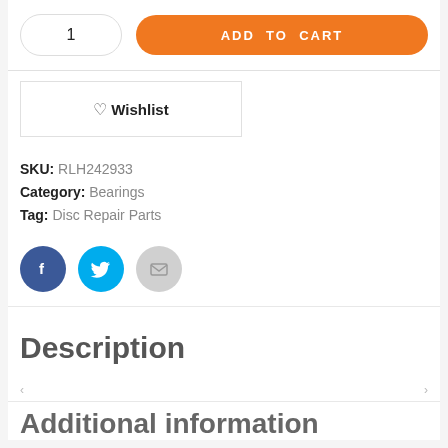1
ADD TO CART
♡ Wishlist
SKU: RLH242933
Category: Bearings
Tag: Disc Repair Parts
[Figure (illustration): Three social share icons: Facebook (dark blue circle with 'f'), Twitter (cyan circle with bird icon), Email (light grey circle with envelope icon)]
Description
Additional information